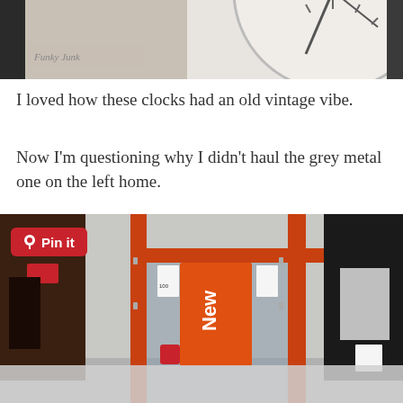[Figure (photo): Partial top view of vintage clocks with a watermark logo visible on the left side]
I loved how these clocks had an old vintage vibe.
Now I’m questioning why I didn’t haul the grey metal one on the left home.
[Figure (photo): Photo of an orange metal display cabinet with glass doors in a store (IKEA), with a 'New' orange tag hanging from it, and a 'Pin it' button overlay in the top left corner]